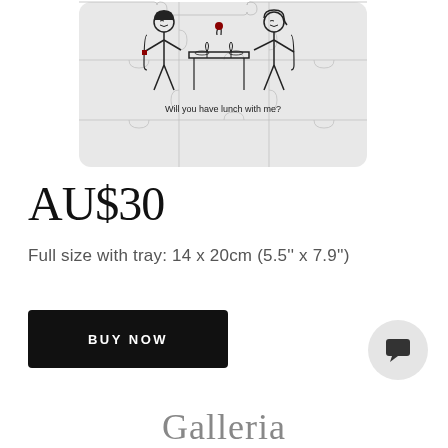[Figure (illustration): A jigsaw puzzle illustration showing two women sitting at a dining table with a vase and wine glasses. Below the illustration is the text 'Will you have lunch with me?'. The puzzle has a light gray background with puzzle piece cutout shapes.]
AU$30
Full size with tray: 14 x 20cm (5.5'' x 7.9'')
BUY NOW
Galleria